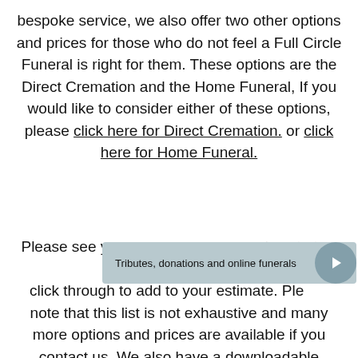bespoke service, we also offer two other options and prices for those who do not feel a Full Circle Funeral is right for them. These options are the Direct Cremation and the Home Funeral, If you would like to consider either of these options, please click here for Direct Cremation. or click here for Home Funeral.
Please see your options below and click through to add to your estimate. Please note that this list is not exhaustive and many more options and prices are available if you contact us. We also have a downloadable PDF Price List.